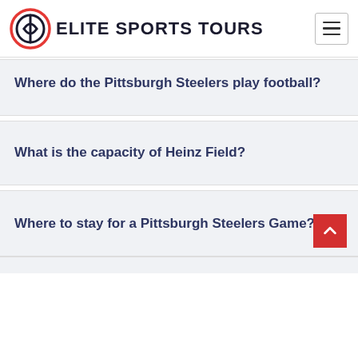ELITE SPORTS TOURS
Where do the Pittsburgh Steelers play football?
What is the capacity of Heinz Field?
Where to stay for a Pittsburgh Steelers Game?